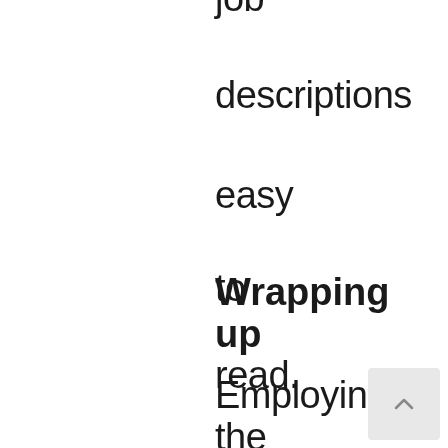job descriptions easy to read.
Wrapping up
Employing the